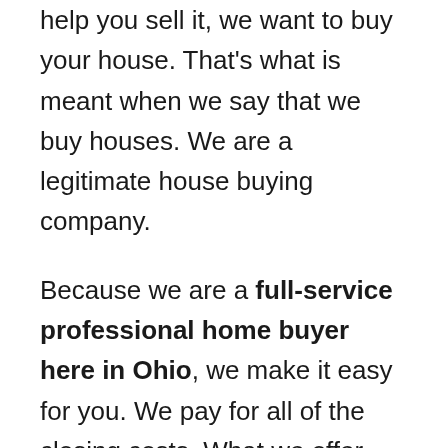help you sell it, we want to buy your house. That's what is meant when we say that we buy houses. We are a legitimate house buying company.
Because we are a full-service professional home buyer here in Ohio, we make it easy for you. We pay for all of the closing costs. What we offer you is what you get (of course minus any mortgage payoff or other encumbrances on the property).
So when you add up the time you could save by working with Jessie Buys Columbus, the